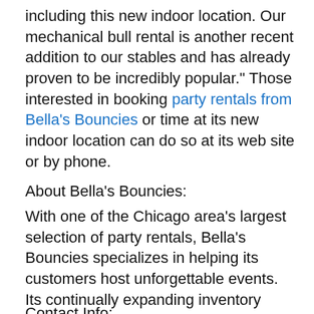including this new indoor location. Our mechanical bull rental is another recent addition to our stables and has already proven to be incredibly popular." Those interested in booking party rentals from Bella's Bouncies or time at its new indoor location can do so at its web site or by phone.
About Bella's Bouncies:
With one of the Chicago area's largest selection of party rentals, Bella's Bouncies specializes in helping its customers host unforgettable events. Its continually expanding inventory ensures that clients will have access to the latest innovations as well as the most-requested classics, and its dedication to safety and cleanliness ensure that only the happiest of memories will be made.
Contact Info: